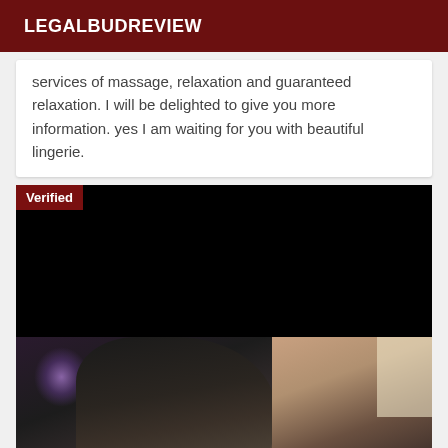LEGALBUDREVIEW
services of massage, relaxation and guaranteed relaxation. I will be delighted to give you more information. yes I am waiting for you with beautiful lingerie.
[Figure (photo): Dark/black image with a 'Verified' badge in the top-left corner on a dark red background, followed by a photo showing a person with dark hair wearing a sparkly purple outfit, with a light background visible at right.]